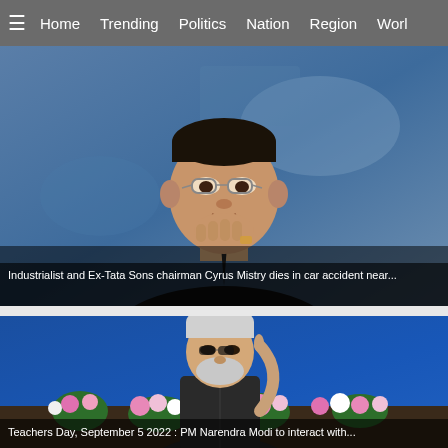≡  Home  Trending  Politics  Nation  Region  Worl
[Figure (photo): Portrait photo of Cyrus Mistry, a man wearing glasses with his hand on his chin, seated against a blurred blue background.]
Industrialist and Ex-Tata Sons chairman Cyrus Mistry dies in car accident near...
[Figure (photo): Photo of PM Narendra Modi speaking at a podium decorated with flowers, gesturing with one finger raised, against a blue background.]
Teachers Day, September 5 2022 : PM Narendra Modi to interact with...